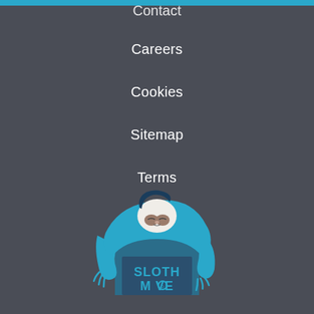Contact
Careers
Cookies
Sitemap
Terms
[Figure (logo): SlothMove logo: a blue cartoon sloth hugging a house-shaped icon with the text SLOTH MOVE inside]